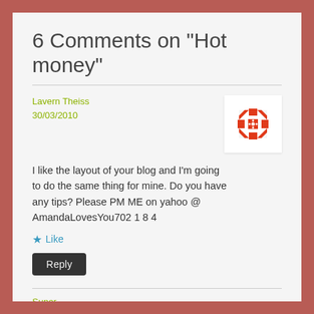6 Comments on “Hot money”
Lavern Theiss
30/03/2010
[Figure (illustration): Red geometric avatar icon with triangles and dots pattern]
I like the layout of your blog and I’m going to do the same thing for mine. Do you have any tips? Please PM ME on yahoo @ AmandaLovesYou702 1 8 4
★ Like
Reply
Super
[Figure (illustration): Purple and yellow geometric avatar icon]